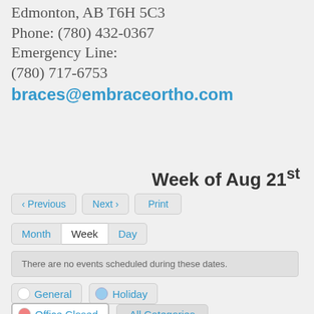Edmonton, AB T6H 5C3
Phone: (780) 432-0367
Emergency Line:
(780) 717-6753
braces@embraceortho.com
Week of Aug 21st
‹ Previous  Next ›  Print
Month  Week  Day
There are no events scheduled during these dates.
General  Holiday
Office Closed  All Categories